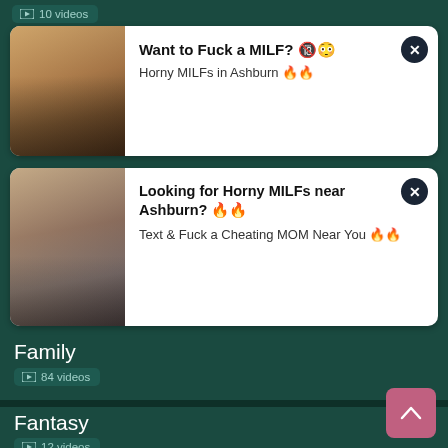📹 10 videos
[Figure (photo): Ad card 1: photo of woman with pearl necklace, advertisement for adult dating]
Want to Fuck a MILF? 🔞😳
Horny MILFs in Ashburn 🔥🔥
[Figure (photo): Ad card 2: photo of woman sitting in chair, advertisement for adult dating]
Looking for Horny MILFs near Ashburn? 🔥🔥
Text & Fuck a Cheating MOM Near You 🔥🔥
Family
📹 84 videos
Fantasy
📹 12 videos
Father